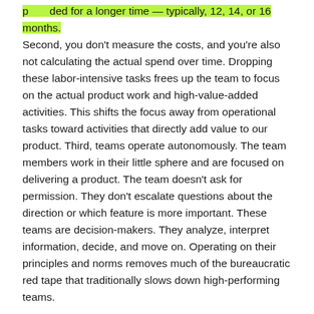ded for a longer time — typically, 12, 14, or 16 months. Second, you don't measure the costs, and you're also not calculating the actual spend over time. Dropping these labor-intensive tasks frees up the team to focus on the actual product work and high-value-added activities. This shifts the focus away from operational tasks toward activities that directly add value to our product. Third, teams operate autonomously. The team members work in their little sphere and are focused on delivering a product. The team doesn't ask for permission. They don't escalate questions about the direction or which feature is more important. These teams are decision-makers. They analyze, interpret information, decide, and move on. Operating on their principles and norms removes much of the bureaucratic red tape that traditionally slows down high-performing teams.
The influences that press on capacity-based funding models